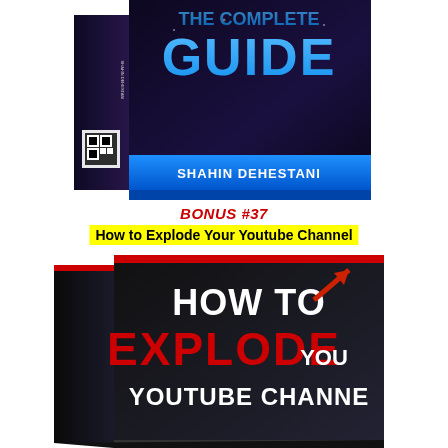[Figure (photo): 3D book cover showing 'GUIDE' in blue text with author name SHAHIN DEHESTANI on a dark background, displayed as a physical book product]
BONUS #37
How to Explode Your Youtube Channel
[Figure (photo): 3D book cover showing 'HOW TO EXPLODE YOUR YOUTUBE CHANNEL' in white and red text on a dark background, displayed as a physical book product]